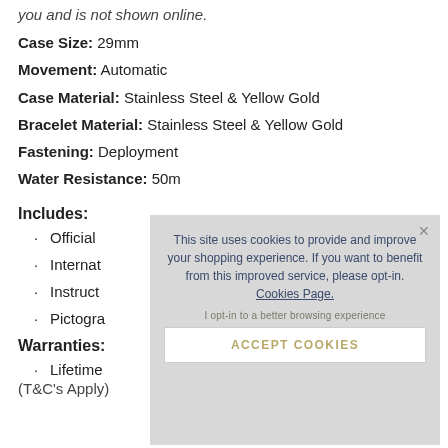you and is not shown online.
Case Size: 29mm
Movement: Automatic
Case Material: Stainless Steel & Yellow Gold
Bracelet Material: Stainless Steel & Yellow Gold
Fastening: Deployment
Water Resistance: 50m
Includes:
Official
Internat
Instruct
Pictogra
Warranties:
Lifetime
(T&C's Apply)